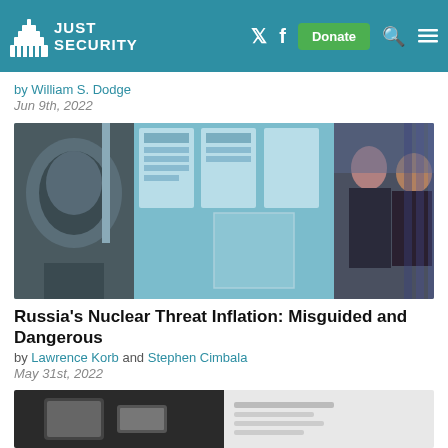JUST SECURITY
by William S. Dodge
Jun 9th, 2022
[Figure (photo): Two men in suits examining nuclear-related equipment behind glass at an exhibition, with informational posters in the background.]
Russia's Nuclear Threat Inflation: Misguided and Dangerous
by Lawrence Korb and Stephen Cimbala
May 31st, 2022
[Figure (photo): Partial view of a bottom article image strip showing a tablet device and a document.]